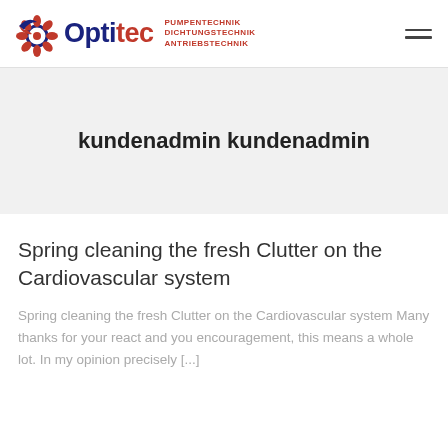Optitec PUMPENTECHNIK DICHTUNGSTECHNIK ANTRIEBSTECHNIK
kundenadmin kundenadmin
Spring cleaning the fresh Clutter on the Cardiovascular system
Spring cleaning the fresh Clutter on the Cardiovascular system Many thanks for your react and you encouragement, this means a whole lot. In my opinion precisely [...]